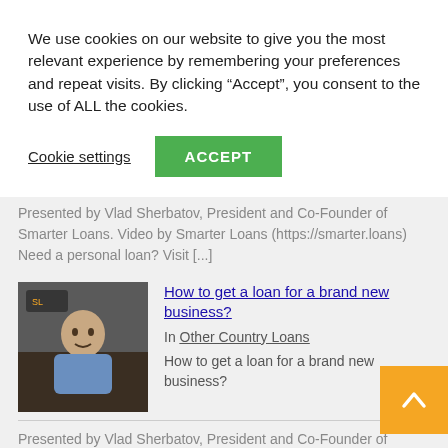We use cookies on our website to give you the most relevant experience by remembering your preferences and repeat visits. By clicking “Accept”, you consent to the use of ALL the cookies.
Cookie settings | ACCEPT
Presented by Vlad Sherbatov, President and Co-Founder of Smarter Loans. Video by Smarter Loans (https://smarter.loans) Need a personal loan? Visit …
[Figure (photo): Thumbnail image of a man in a blue shirt seated, likely a video thumbnail]
How to get a loan for a brand new business?
In Other Country Loans
How to get a loan for a brand new business?
Presented by Vlad Sherbatov, President and Co-Founder of Smarter Loans. Video by Smarter Loans…